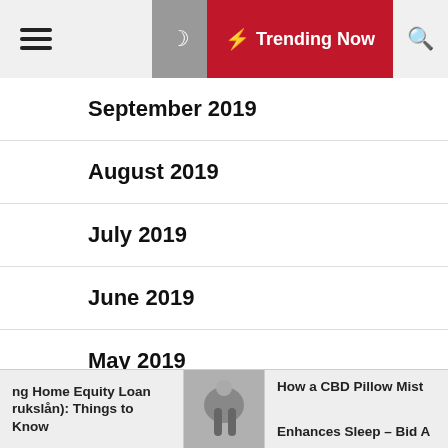Trending Now
September 2019
August 2019
July 2019
June 2019
May 2019
April 2019
March 2019
ng Home Equity Loan (brukslån): Things to Know | How a CBD Pillow Mist Enhances Sleep – Bid A